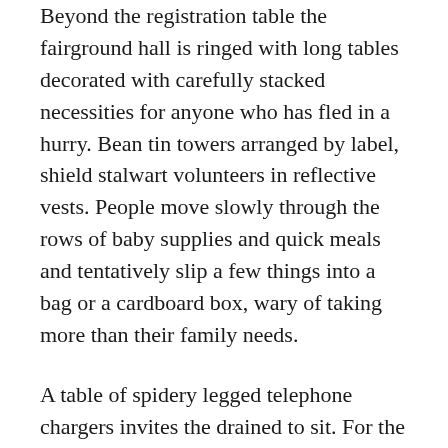Beyond the registration table the fairground hall is ringed with long tables decorated with carefully stacked necessities for anyone who has fled in a hurry. Bean tin towers arranged by label, shield stalwart volunteers in reflective vests. People move slowly through the rows of baby supplies and quick meals and tentatively slip a few things into a bag or a cardboard box, wary of taking more than their family needs.
A table of spidery legged telephone chargers invites the drained to sit. For the number of people murmuring in their masks the building is quiet, hollow sounding. This is a county fairgrounds, accustomed to squealing children gleefully dragging their parents from attraction to attraction. The fl...